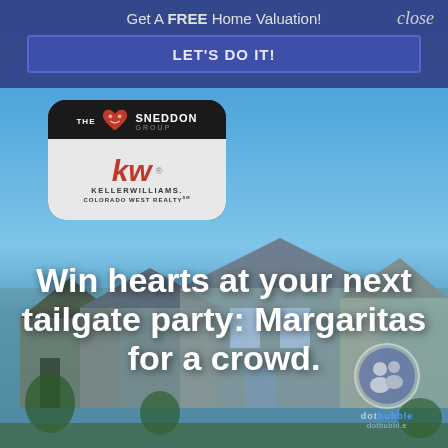Get A FREE Home Valuation!
close
LET'S DO IT!
[Figure (logo): The Sneddon Group - Keller Williams Colorado West Realty logo badge with black top section and grey bottom section]
[Figure (photo): Suburban neighborhood with craftsman-style homes against a blue sky background]
Win hearts at your next tailgate party: Margaritas for a crowd.
[Figure (logo): Dotbubble watermark logo with circular photo of two people]